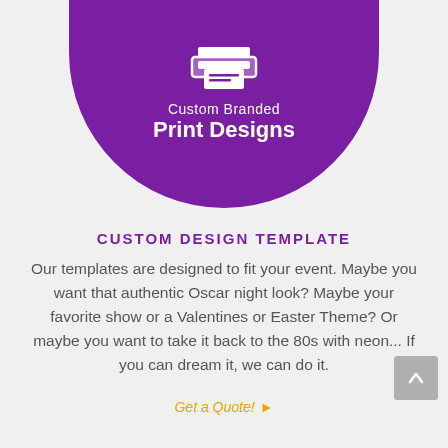[Figure (illustration): Purple half-circle with white printer icon, text 'Custom Branded Print Designs']
CUSTOM DESIGN TEMPLATE
Our templates are designed to fit your event. Maybe you want that authentic Oscar night look? Maybe your favorite show or a Valentines or Easter Theme? Or maybe you want to take it back to the 80s with neon... If you can dream it, we can do it.
Get a Quote! ▶